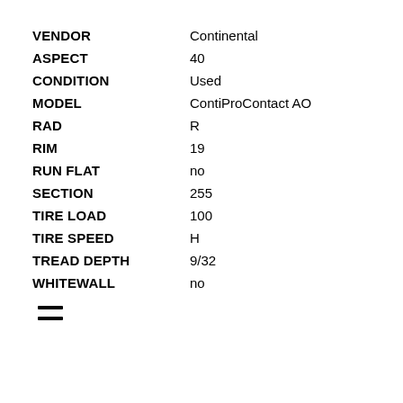VENDOR: Continental
ASPECT: 40
CONDITION: Used
MODEL: ContiProContact AO
RAD: R
RIM: 19
RUN FLAT: no
SECTION: 255
TIRE LOAD: 100
TIRE SPEED: H
TREAD DEPTH: 9/32
WHITEWALL: no
[Figure (other): Hamburger menu icon with two horizontal lines]